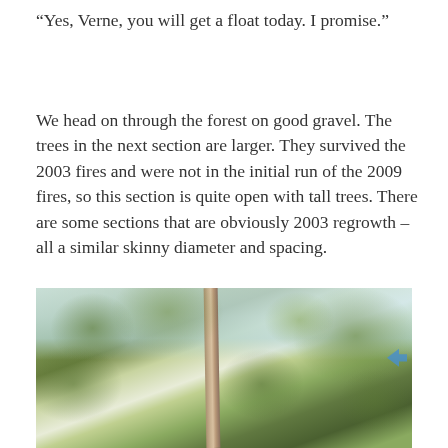“Yes, Verne, you will get a float today. I promise.”
We head on through the forest on good gravel. The trees in the next section are larger. They survived the 2003 fires and were not in the initial run of the 2009 fires, so this section is quite open with tall trees. There are some sections that are obviously 2003 regrowth – all a similar skinny diameter and spacing.
[Figure (photo): Looking up through tall eucalyptus forest trees with foliage canopy against a light sky; a blue navigation arrow is visible in the upper right corner of the photo.]